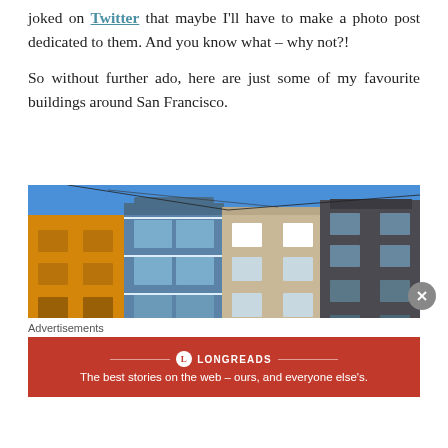joked on Twitter that maybe I'll have to make a photo post dedicated to them. And you know what – why not?!
So without further ado, here are just some of my favourite buildings around San Francisco.
[Figure (photo): Street-level photograph of a row of Victorian/Edwardian style buildings in San Francisco under a bright blue sky. From left to right: a yellow/orange building, a blue building with bay windows, a beige/tan building, and a dark grey building. Cars are parked on the street in front.]
Advertisements
[Figure (other): Longreads advertisement banner in red: logo circle with L, 'LONGREADS' text with decorative lines, tagline 'The best stories on the web – ours, and everyone else's.']